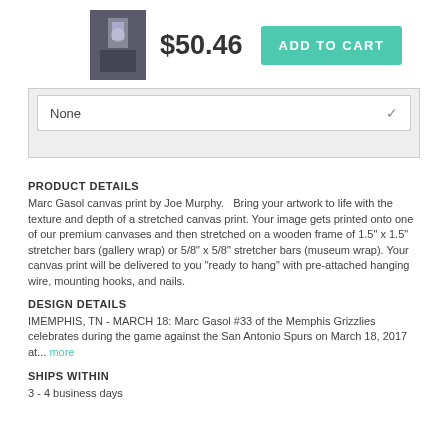[Figure (photo): Thumbnail of Marc Gasol canvas print product image]
$50.46
ADD TO CART
None
PRODUCT DETAILS
Marc Gasol canvas print by Joe Murphy.   Bring your artwork to life with the texture and depth of a stretched canvas print. Your image gets printed onto one of our premium canvases and then stretched on a wooden frame of 1.5" x 1.5" stretcher bars (gallery wrap) or 5/8" x 5/8" stretcher bars (museum wrap). Your canvas print will be delivered to you "ready to hang" with pre-attached hanging wire, mounting hooks, and nails.
DESIGN DETAILS
IMEMPHIS, TN - MARCH 18: Marc Gasol #33 of the Memphis Grizzlies celebrates during the game against the San Antonio Spurs on March 18, 2017 at... more
SHIPS WITHIN
3 - 4 business days